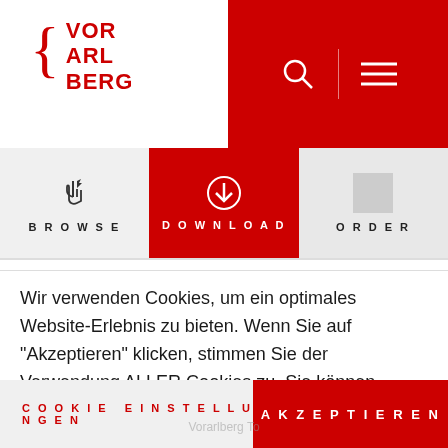[Figure (logo): Vorarlberg government logo with red curly brace and bold red text VOR ARL BERG]
[Figure (infographic): Red header area with search icon, vertical divider, and hamburger menu icon in white on red background]
[Figure (infographic): Navigation bar with three items: BROWSE (hand cursor icon), DOWNLOAD (active, red background, down arrow icon), ORDER (partially visible)]
Wir verwenden Cookies, um ein optimales Website-Erlebnis zu bieten. Wenn Sie auf "Akzeptieren" klicken, stimmen Sie der Verwendung ALLER Cookies zu. Sie können jedoch die Cookie-Einstellungen besuchen, um eine kontrollierte Zustimmung zu erteilen.
Zur Datenschutzseite
COOKIE EINSTELLUNGEN
AKZEPTIEREN